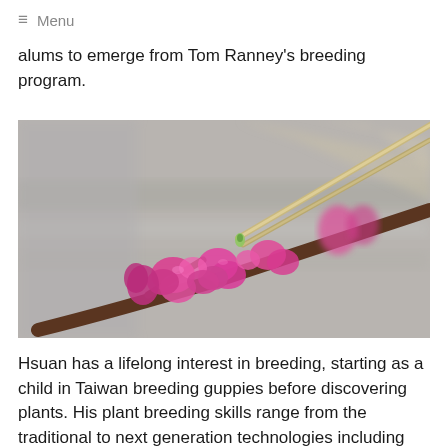≡ Menu
alums to emerge from Tom Ranney's breeding program.
[Figure (photo): Close-up photograph of pink/magenta redbud flowers on a branch, with tweezers or forceps touching a small bud, taken outdoors with blurred background.]
Hsuan has a lifelong interest in breeding, starting as a child in Taiwan breeding guppies before discovering plants. His plant breeding skills range from the traditional to next generation technologies including